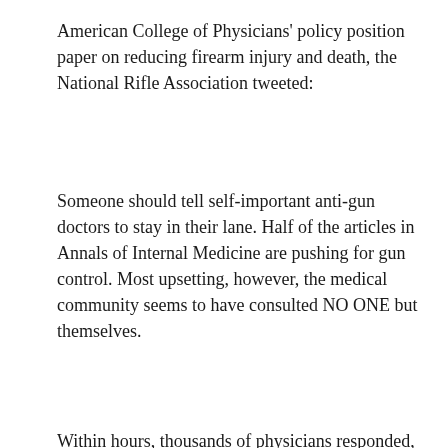American College of Physicians' policy position paper on reducing firearm injury and death, the National Rifle Association tweeted:
Someone should tell self-important anti-gun doctors to stay in their lane. Half of the articles in Annals of Internal Medicine are pushing for gun control. Most upsetting, however, the medical community seems to have consulted NO ONE but themselves.
Within hours, thousands of physicians responded, many using the hashtags #ThisIsOurLane and #ThisIsMyLane, and shared the many reasons why firearm injury and death is most certainly in our lane. Across the United States, physicians have daily, firsthand experience with the devastating consequences of firearm-related injury, disability, and death. We witness the impact of these events not only on our patients, but also on their families and communities. As physicians, we have a special responsibility and obligation